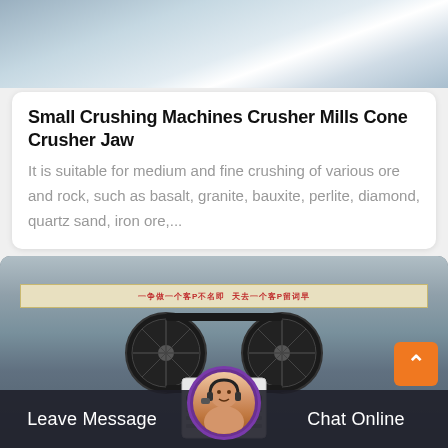[Figure (photo): Top portion of industrial/machinery photo, light metallic surface]
Small Crushing Machines Crusher Mills Cone Crusher Jaw
It is suitable for medium and fine crushing of various ore and rock, such as basalt, granite, bauxite, perlite, diamond, quartz sand, iron ore,...
[Figure (photo): Industrial jaw crusher machine in factory setting with Chinese banner, large flywheel visible, bottom bar with Leave Message and Chat Online buttons and customer service avatar]